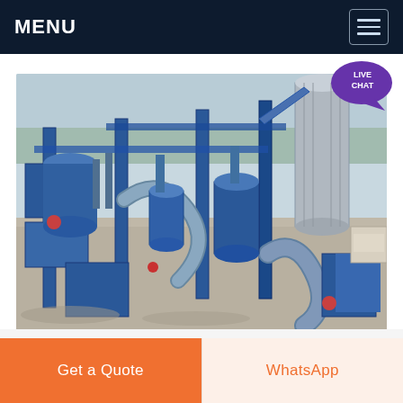MENU
[Figure (photo): Aerial/overhead photo of an industrial mineral processing or powder milling plant with blue steel machinery, silos, conveyor systems, pipes and ductwork on a concrete pad with trees in background]
Get a Quote
WhatsApp